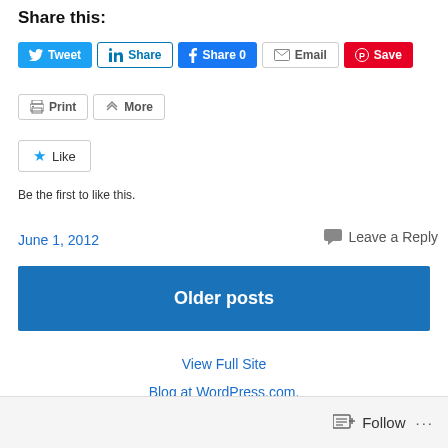Share this:
[Figure (screenshot): Social share buttons: Tweet (Twitter), Share (LinkedIn), Share 0 (Facebook), Email, Save (Pinterest)]
[Figure (screenshot): Print and More buttons]
[Figure (screenshot): Like button with star icon]
Be the first to like this.
June 1, 2012
Leave a Reply
Older posts
View Full Site
Blog at WordPress.com.
Follow ...